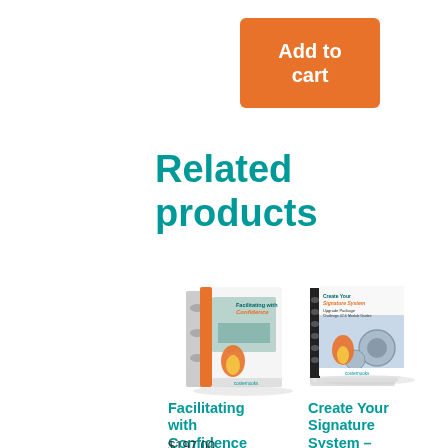Add to cart
Related products
[Figure (photo): Product image of 'Facilitating with Confidence' binder/book with orange flame branding]
[Figure (photo): Product image of 'Create Your Signature System – Upgrade Package' spiral-bound notebooks with orange flame branding]
Facilitating with Confidence
$197.00
Create Your Signature System – Upgrade